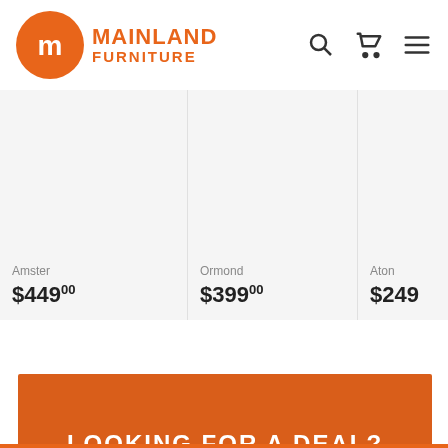[Figure (logo): Mainland Furniture logo with orange circle containing 'm' icon and orange text MAINLAND FURNITURE]
Amster
$449.00
Ormond
$399.00
Aton
$249
LOOKING FOR A DEAL?
SHOP SALE